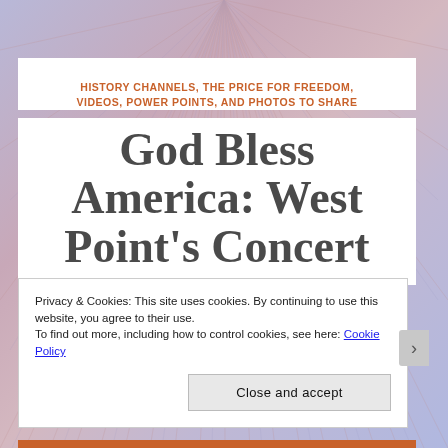[Figure (illustration): Decorative background with radiating line pattern in muted lavender, pink, and blue tones]
HISTORY CHANNELS, THE PRICE FOR FREEDOM, VIDEOS, POWER POINTS, AND PHOTOS TO SHARE
God Bless America: West Point's Concert
Privacy & Cookies: This site uses cookies. By continuing to use this website, you agree to their use.
To find out more, including how to control cookies, see here: Cookie Policy
Close and accept